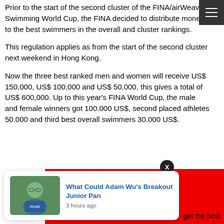Prior to the start of the second cluster of the FINA/airWeave Swimming World Cup, the FINA decided to distribute money to the best swimmers in the overall and cluster rankings.
This regulation applies as from the start of the second cluster next weekend in Hong Kong.
Now the three best ranked men and women will receive US$ 150,000, US$ 100,000 and US$ 50,000, this gives a total of US$ 600,000. Up to this year's FINA World Cup, the male and female winners got 100.000 US$, second placed athletes 50.000 and third best overall swimmers 30.000 US$.
[Figure (screenshot): Notification card showing 'What Could Adam Wu's Breakout Junior Pan' article link with profile photo, posted 3 hours ago, overlaid on red banner]
get the best